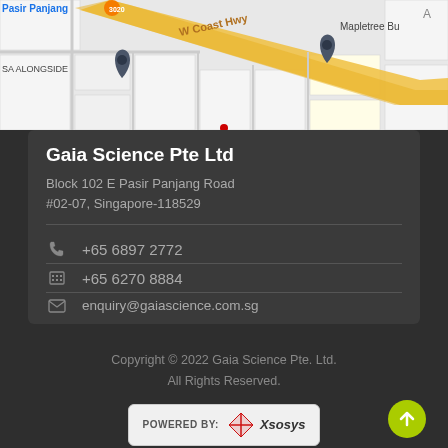[Figure (map): Google Maps screenshot showing Pasir Panjang area with a yellow highway (W Coast Hwy), location pins, and text labels including 'Pasir Panjang', 'SA ALONGSIDE', and 'Mapletree Bu']
Gaia Science Pte Ltd
Block 102 E Pasir Panjang Road
#02-07, Singapore-118529
+65 6897 2772
+65 6270 8884
enquiry@gaiascience.com.sg
Copyright © 2022 Gaia Science Pte. Ltd.
All Rights Reserved.
[Figure (logo): Powered by Xsosys logo — a red cross/plus diamond symbol with the text 'POWERED BY: Xsosys']